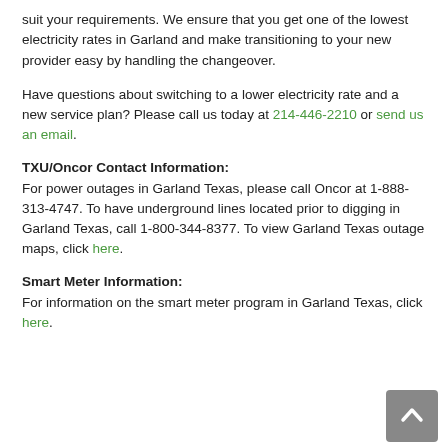suit your requirements. We ensure that you get one of the lowest electricity rates in Garland and make transitioning to your new provider easy by handling the changeover.
Have questions about switching to a lower electricity rate and a new service plan? Please call us today at 214-446-2210 or send us an email.
TXU/Oncor Contact Information:
For power outages in Garland Texas, please call Oncor at 1-888-313-4747. To have underground lines located prior to digging in Garland Texas, call 1-800-344-8377. To view Garland Texas outage maps, click here.
Smart Meter Information:
For information on the smart meter program in Garland Texas, click here.